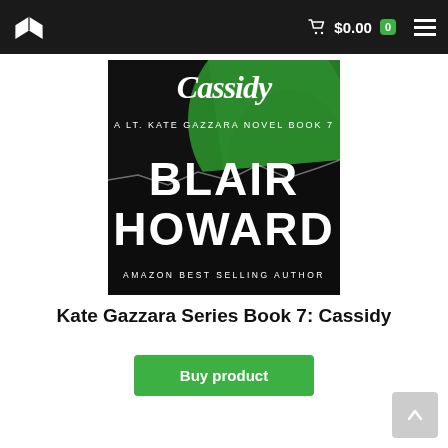$0.00  0
[Figure (photo): Book cover for 'Cassidy: A Lt. Kate Gazzara Novel Book 7' by Blair Howard, Amazon Best Selling Author. Dark background with green fabric/curtain imagery and white lettering.]
Kate Gazzara Series Book 7: Cassidy
Buy product